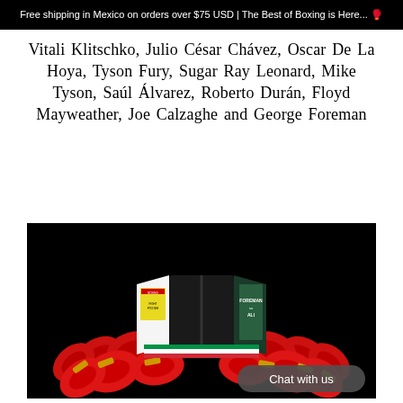Free shipping in Mexico on orders over $75 USD | The Best of Boxing is Here... 🥊
Vitali Klitschko, Julio César Chávez, Oscar De La Hoya, Tyson Fury, Sugar Ray Leonard, Mike Tyson, Saúl Álvarez, Roberto Durán, Floyd Mayweather, Joe Calzaghe and George Foreman
[Figure (photo): An open coffee-table book about boxing displayed with multiple red boxing gloves arranged around it on a black background. The book shows fight poster imagery including a Foreman vs Ali page. A 'Chat with us' button overlay appears in the bottom-right corner.]